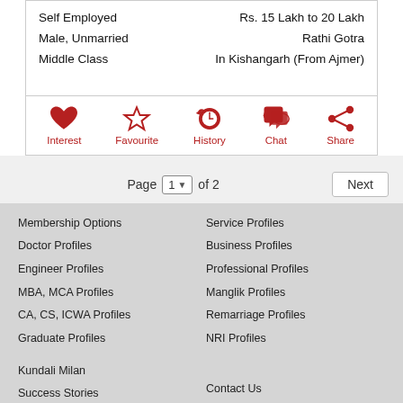Self Employed
Male, Unmarried
Middle Class
Rs. 15 Lakh to 20 Lakh
Rathi Gotra
In Kishangarh (From Ajmer)
[Figure (infographic): Five action icons in a row: Interest (heart), Favourite (star), History (clock arrow), Chat (speech bubble), Share (share icon). All icons and labels in dark red/crimson color.]
Page 1 of 2  Next
Membership Options
Service Profiles
Doctor Profiles
Business Profiles
Engineer Profiles
Professional Profiles
MBA, MCA Profiles
Manglik Profiles
CA, CS, ICWA Profiles
Remarriage Profiles
Graduate Profiles
NRI Profiles
Kundali Milan
Success Stories
Contact Us
Share Success Story
About Us
Report Service Issue
FAQ